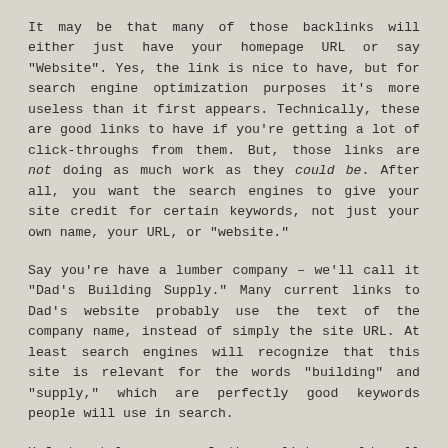It may be that many of those backlinks will either just have your homepage URL or say "Website". Yes, the link is nice to have, but for search engine optimization purposes it's more useless than it first appears. Technically, these are good links to have if you're getting a lot of click-throughs from them. But, those links are not doing as much work as they could be. After all, you want the search engines to give your site credit for certain keywords, not just your own name, your URL, or "website."
Say you're have a lumber company – we'll call it "Dad's Building Supply." Many current links to Dad's website probably use the text of the company name, instead of simply the site URL. At least search engines will recognize that this site is relevant for the words "building" and "supply," which are perfectly good keywords people will use in search.
Unfortunately, many of those links could well simply say "WEBSITE" or "CLICK HERE." These links won't help you one bit as far as keyword strategies are concerned. In many cases, it can be difficult to get websites to change how they link to things. However, there are plenty of ways to gain new link "juice" with minimal effort.